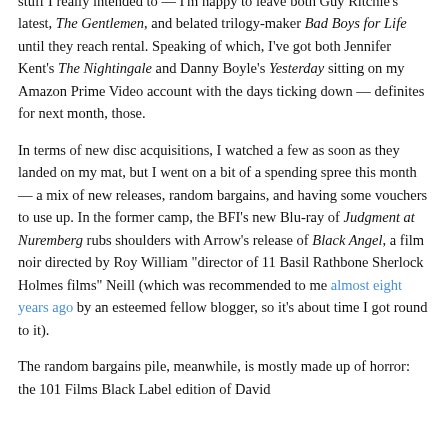stuff I really intended to — I'm happy to leave both Guy Ritchie's latest, The Gentlemen, and belated trilogy-maker Bad Boys for Life until they reach rental. Speaking of which, I've got both Jennifer Kent's The Nightingale and Danny Boyle's Yesterday sitting on my Amazon Prime Video account with the days ticking down — definites for next month, those.
In terms of new disc acquisitions, I watched a few as soon as they landed on my mat, but I went on a bit of a spending spree this month — a mix of new releases, random bargains, and having some vouchers to use up. In the former camp, the BFI's new Blu-ray of Judgment at Nuremberg rubs shoulders with Arrow's release of Black Angel, a film noir directed by Roy William "director of 11 Basil Rathbone Sherlock Holmes films" Neill (which was recommended to me almost eight years ago by an esteemed fellow blogger, so it's about time I got round to it).
The random bargains pile, meanwhile, is mostly made up of horror: the 101 Films Black Label edition of David